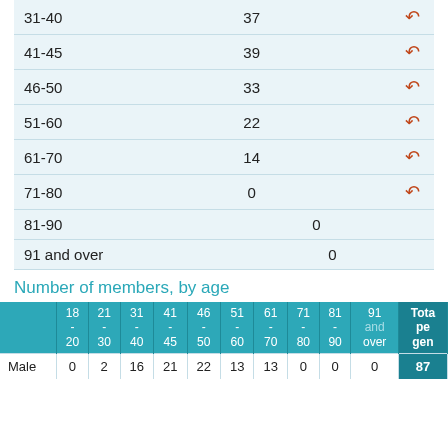| Age range | Count |  |
| --- | --- | --- |
| 31-40 | 37 | ↺ |
| 41-45 | 39 | ↺ |
| 46-50 | 33 | ↺ |
| 51-60 | 22 | ↺ |
| 61-70 | 14 | ↺ |
| 71-80 | 0 | ↺ |
| 81-90 | 0 |  |
| 91 and over | 0 |  |
Number of members, by age
|  | 18-20 | 21-30 | 31-40 | 41-45 | 46-50 | 51-60 | 61-70 | 71-80 | 81-90 | 91 and over | Total persons by gender |
| --- | --- | --- | --- | --- | --- | --- | --- | --- | --- | --- | --- |
| Male | 0 | 2 | 16 | 21 | 22 | 13 | 13 | 0 | 0 | 0 | 87 |